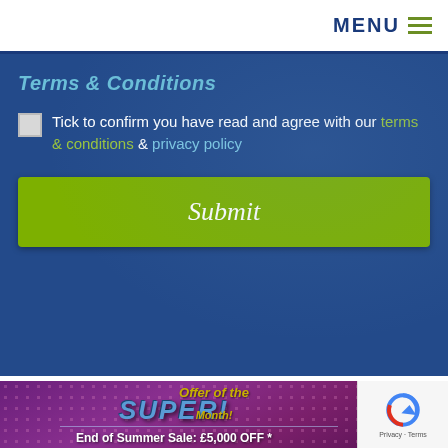MENU
Terms & Conditions
Tick to confirm you have read and agree with our terms & conditions & privacy policy
Submit
[Figure (infographic): Offer of the Month promotional banner with SUPER! SALE! text over a purple dotted background with stars. End of Summer Sale: £5,000 OFF *]